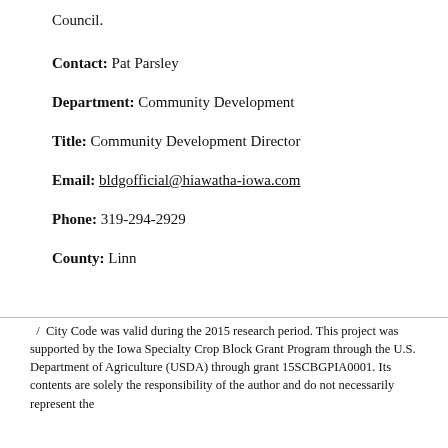Council.
Contact: Pat Parsley
Department: Community Development
Title: Community Development Director
Email: bldgofficial@hiawatha-iowa.com
Phone: 319-294-2929
County: Linn
/ City Code was valid during the 2015 research period. This project was supported by the Iowa Specialty Crop Block Grant Program through the U.S. Department of Agriculture (USDA) through grant 15SCBGPIA0001. Its contents are solely the responsibility of the author and do not necessarily represent the